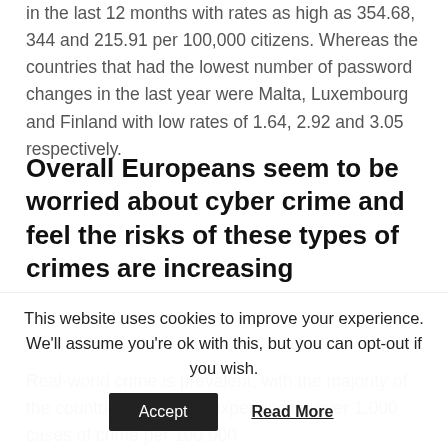in the last 12 months with rates as high as 354.68, 344 and 215.91 per 100,000 citizens. Whereas the countries that had the lowest number of password changes in the last year were Malta, Luxembourg and Finland with low rates of 1.64, 2.92 and 3.05 respectively.
Overall Europeans seem to be worried about cyber crime and feel the risks of these types of crimes are increasing
Real-world crime is prevalent, with the majority of the countries in Europe experiencing over 1,000 cases of crime per 100,000
This website uses cookies to improve your experience. We'll assume you're ok with this, but you can opt-out if you wish.